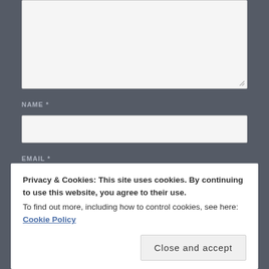[Figure (screenshot): A large textarea input box (light gray background) partially visible at top of page, with a resize handle at bottom-right corner.]
NAME *
[Figure (screenshot): A single-line text input field for NAME, light gray background.]
EMAIL *
Privacy & Cookies: This site uses cookies. By continuing to use this website, you agree to their use.
To find out more, including how to control cookies, see here: Cookie Policy
Close and accept